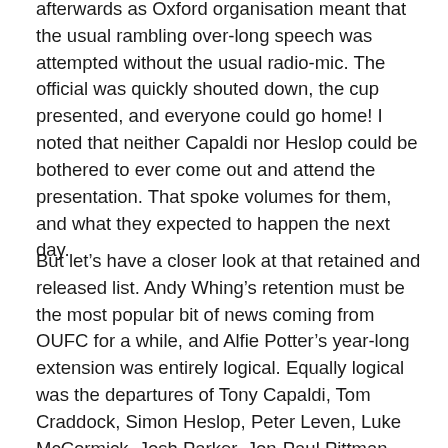afterwards as Oxford organisation meant that the usual rambling over-long speech was attempted without the usual radio-mic. The official was quickly shouted down, the cup presented, and everyone could go home! I noted that neither Capaldi nor Heslop could be bothered to ever come out and attend the presentation. That spoke volumes for them, and what they expected to happen the next day.
But let’s have a closer look at that retained and released list. Andy Whing’s retention must be the most popular bit of news coming from OUFC for a while, and Alfie Potter’s year-long extension was entirely logical. Equally logical was the departures of Tony Capaldi, Tom Craddock, Simon Heslop, Peter Leven, Luke McCormick, Josh Parker, Jon-Paul Pittman, Justin Richards, and Harry Worley. Not one has set the world alight and in some